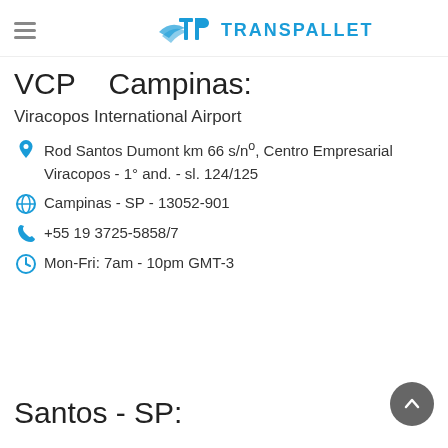TRANSPALLET
VCP – Campinas:
Viracopos International Airport
Rod Santos Dumont km 66 s/nº, Centro Empresarial Viracopos - 1° and. - sl. 124/125
Campinas - SP - 13052-901
+55 19 3725-5858/7
Mon-Fri: 7am - 10pm GMT-3
Santos - SP: